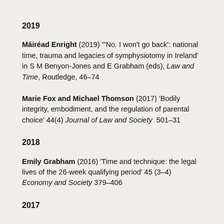2019
Máiréad Enright (2019) ''No. I won't go back': national time, trauma and legacies of symphysiotomy in Ireland' in S M Benyon-Jones and E Grabham (eds), Law and Time, Routledge, 46–74
Marie Fox and Michael Thomson (2017) 'Bodily integrity, embodiment, and the regulation of parental choice' 44(4) Journal of Law and Society  501–31
2018
Emily Grabham (2016) 'Time and technique: the legal lives of the 26-week qualifying period' 45 (3–4) Economy and Society 379–406
2017